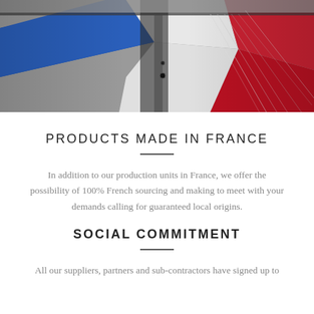[Figure (photo): Close-up photograph of a textile weaving machine with blue, white, and red fabric threads visible, resembling the French flag colors. Metal machinery parts and thread guides are visible.]
PRODUCTS MADE IN FRANCE
In addition to our production units in France, we offer the possibility of 100% French sourcing and making to meet with your demands calling for guaranteed local origins.
SOCIAL COMMITMENT
All our suppliers, partners and sub-contractors have signed up to